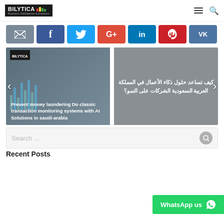BILYTICA - Business Intelligence & Analytics
[Figure (other): Social share buttons: email (grey), Facebook (blue), Twitter (light blue), Google+ (red), LinkedIn (blue), Pinterest (red), VK (dark blue)]
[Figure (other): Slider with two panels: left shows article 'Prevent money laundering Do classic transaction monitoring systems with AI Solutions in saudi-arabia' over a dark analytics image; right shows Arabic text 'كيف تساعد حلول ذكاء الأعمال في المملكة العربية السعودية الشركات على النمو؟' on grey background. Left and right navigation arrows visible.]
Search ...
WhatsApp us
Recent Posts